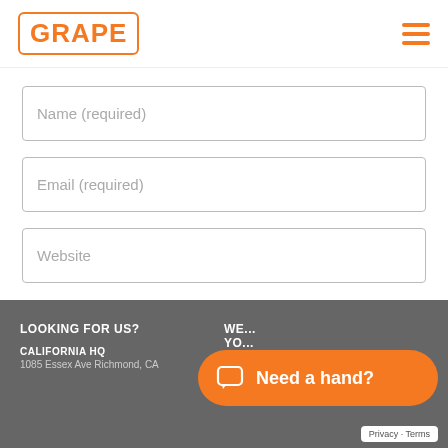[Figure (logo): GRAPE logo with orange border and orange text]
Name (required)
Email (required)
Website
POST COMMENT
LOOKING FOR US?
CALIFORNIA HQ
1085 Essex Ave Richmond, CA
WE...
YO...
General Info:
[Figure (other): Orange chat bubble with chat icon and text 'Need a hand?']